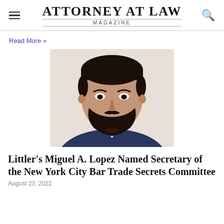ATTORNEY AT LAW MAGAZINE
Read More »
[Figure (photo): Headshot of Miguel A. Lopez, a man with dark hair and beard wearing a suit]
Littler's Miguel A. Lopez Named Secretary of the New York City Bar Trade Secrets Committee
August 23, 2022